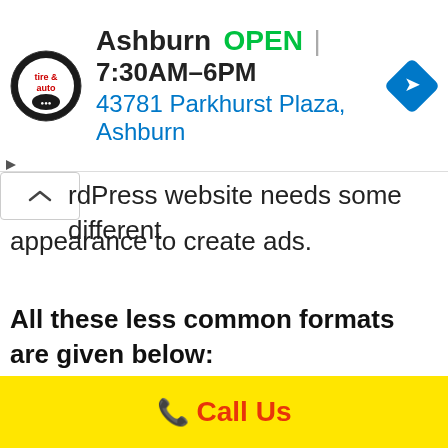[Figure (screenshot): Ad banner for Ashburn tire & auto shop showing logo, OPEN status, hours 7:30AM-6PM, address 43781 Parkhurst Plaza, Ashburn, and a navigation arrow icon]
rdPress website needs some different appearance to create ads.
All these less common formats are given below:
Banner (468×60): This is used for any website headers, this type of banner gives you a smaller space for creating ads that are good than other normal leaderboard banners.
Half Banner (234×60): This type of banner is
[Figure (screenshot): Yellow bottom bar with red Call Us button and phone icon]